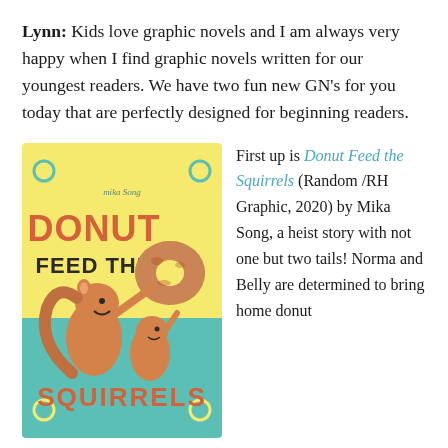Lynn: Kids love graphic novels and I am always very happy when I find graphic novels written for our youngest readers. We have two fun new GN's for you today that are perfectly designed for beginning readers.
[Figure (illustration): Book cover of 'Donut Feed the Squirrels' by Mika Song. Yellow and teal background with cartoon squirrels and a donut. Text reads 'DONUT FEED THE SQUIRRELS' in orange letters.]
First up is Donut Feed the Squirrels (Random/RH Graphic, 2020) by Mika Song, a heist story with not one but two tails! Norma and Belly are determined to bring home donuts